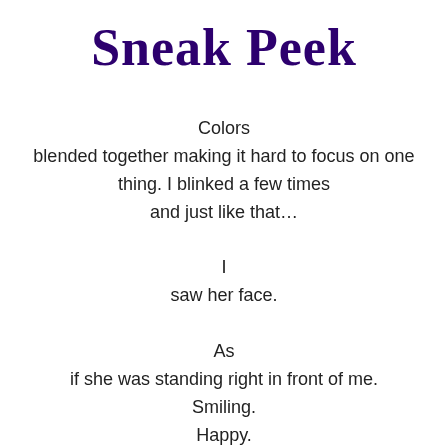Sneak Peek
Colors
blended together making it hard to focus on one thing. I blinked a few times
and just like that…

I
saw her face.

As
if she was standing right in front of me.
Smiling.
Happy.
Laughing.